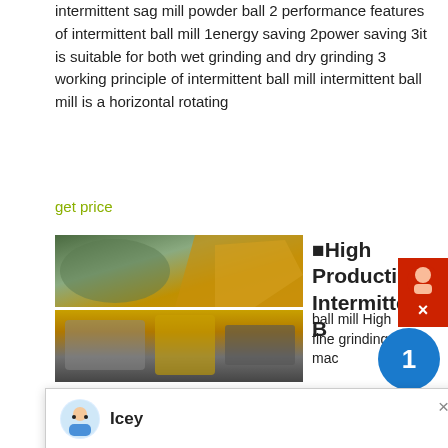intermittent sag mill powder ball 2 performance features of intermittent ball mill 1energy saving 2power saving 3it is suitable for both wet grinding and dry grinding 3 working principle of intermittent ball mill intermittent ball mill is a horizontal rotating
get price
[Figure (photo): Photo of heavy industrial machinery, yellow and orange colored equipment with rock/mountain background]
⬛High Production Intermittent B
[Figure (photo): Photo of yellow heavy grinding mill machinery]
ball mill High fine grinding mac
[Figure (screenshot): Chat popup from Liming Heavy Industry with avatar of Icey, showing welcome message to choose language]
intermittent ball mill/ ceramic ball mill,US $ 4,000 800,000 New, Ball Mill, AC Motor.Source from Zhengzhou Hengxing Heavy Chat Online . Ceramic Ball Mill/Ball Mill Design/Intermittent . Ceramic ball mill is mainly used in the mixing and grinding the raw material for mixing well, especially in the
get price